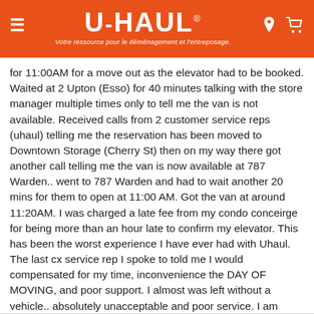[Figure (logo): U-Haul website header with orange background, hamburger menu icon, U-HAUL logo with registered trademark, tagline 'Votre ressource pour le déménagement et l'entreposage.', location pin icon, and cart icon]
for 11:00AM for a move out as the elevator had to be booked. Waited at 2 Upton (Esso) for 40 minutes talking with the store manager multiple times only to tell me the van is not available. Received calls from 2 customer service reps (uhaul) telling me the reservation has been moved to Downtown Storage (Cherry St) then on my way there got another call telling me the van is now available at 787 Warden.. went to 787 Warden and had to wait another 20 mins for them to open at 11:00 AM. Got the van at around 11:20AM. I was charged a late fee from my condo conceirge for being more than an hour late to confirm my elevator. This has been the worst experience I have ever had with Uhaul. The last cx service rep I spoke to told me I would compensated for my time, inconvenience the DAY OF MOVING, and poor support. I almost was left without a vehicle.. absolutely unacceptable and poor service. I am definitely requesting for compensation of some sort.
— David K.  (11/29/2021)